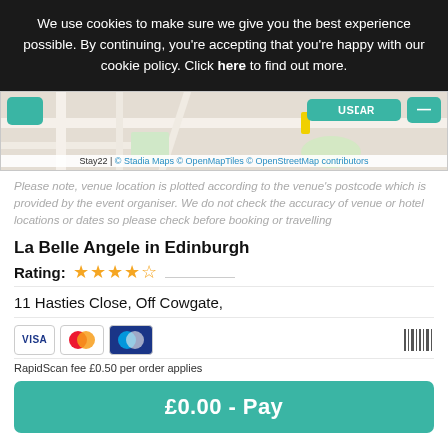We use cookies to make sure we give you the best experience possible. By continuing, you're accepting that you're happy with our cookie policy. Click here to find out more.
[Figure (map): Partial map view showing street layout with teal UI buttons, a USD/AR currency selector, and a yellow location marker. Map attribution: Stay22 | © Stadia Maps © OpenMapTiles © OpenStreetMap contributors]
Please note, venue location is plotted according to the venue's postcode which is provided by the event organiser. We do not check the accuracy of venue or hotel locations or dates so please check before booking or travelling
La Belle Angele in Edinburgh
Rating: ★★★★½
11 Hasties Close, Off Cowgate,
RapidScan fee £0.50 per order applies
£0.00 - Pay